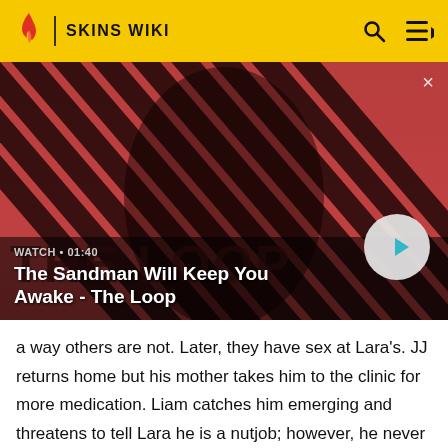SKINS WIKI
[Figure (screenshot): Video thumbnail for 'The Sandman Will Keep You Awake - The Loop' with a dark-clothed figure and a raven on red and black diagonal striped background. WATCH • 01:40 label shown with a play button.]
a way others are not. Later, they have sex at Lara's. JJ returns home but his mother takes him to the clinic for more medication. Liam catches him emerging and threatens to tell Lara he is a nutjob; however, he never manages to, as Lara refuses to speak to him. JJ lets Lara